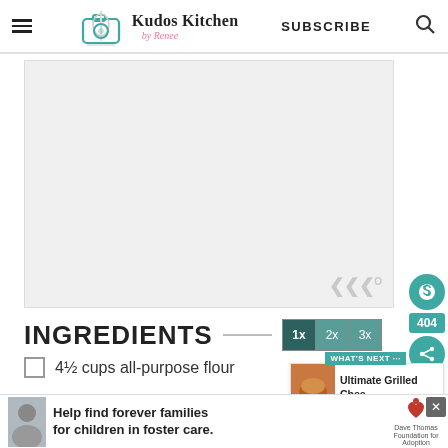Kudos Kitchen by Renee — SUBSCRIBE
[Figure (other): Large blank/grey image placeholder area for recipe photo]
INGREDIENTS
4½ cups all-purpose flour
2 teaspoons salt plus additional for the
[Figure (other): Advertisement banner: Help find forever families for children in foster care. Dave Thomas Foundation for Adoption.]